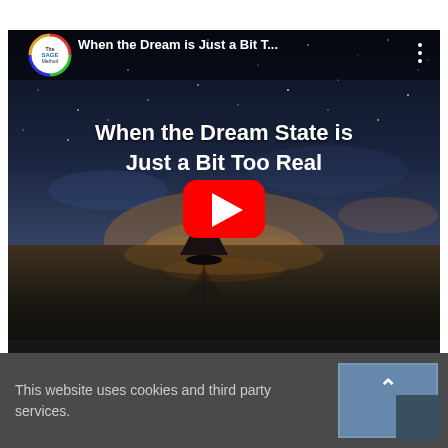[Figure (screenshot): YouTube video embed showing 'When the Dream is Just a Bit Too Real' by The SAGE Method channel. Dark atmospheric thumbnail with sailboat on calm water under night sky. YouTube play button centered. Title text overlaid in white.]
This website uses cookies and third party services.